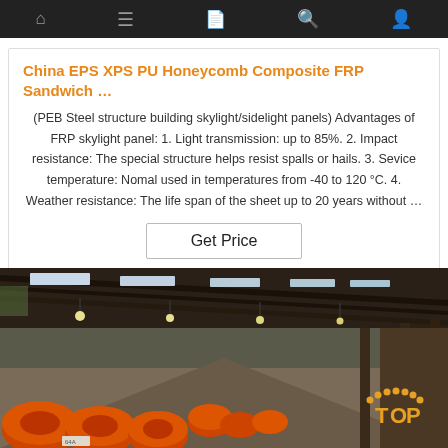Navigation bar with home, menu, document, search, account icons
China EPS XPS PU Honeycomb Composite FRP Sandwich …
(PEB Steel structure building skylight/sidelight panels) Advantages of FRP skylight panel: 1. Light transmission: up to 85%. 2. Impact resistance: The special structure helps resist spalls or hails. 3. Sevice temperature: Nomal used in temperatures from -40 to 120 °C. 4. Weather resistance: The life span of the sheet up to 20 years without …
Get Price
[Figure (photo): Interior of a large industrial warehouse/factory with steel roof structure, skylights, and stacked orange cable reels or rolls on the floor. A 'TOP' logo is visible in the bottom right corner.]